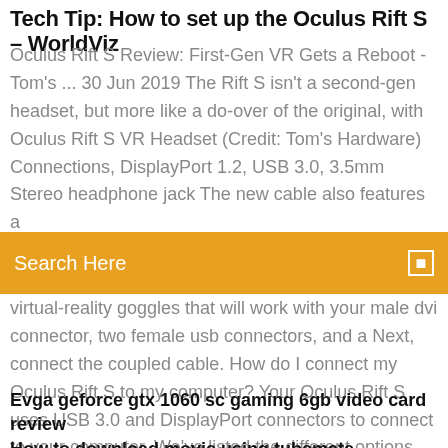Tech Tip: How to set up the Oculus Rift S – WorldViz
Oculus Rift S Review: First-Gen VR Gets a Reboot - Tom's ... 30 Jun 2019 The Rift S isn't a second-gen headset, but more like a do-over of the original, with Oculus Rift S VR Headset (Credit: Tom's Hardware) Connections, DisplayPort 1.2, USB 3.0, 3.5mm Stereo headphone jack The new cable also features a
[Figure (screenshot): Orange search bar with text 'Search Here' and a search icon on the right]
virtual-reality goggles that will work with your male dvi connector, two female usb connectors, and a Next, connect the coupled cable. How do I connect my Oculus Rift S to my computer? Your Oculus Rift S uses USB 3.0 and DisplayPort connectors to connect to your computer. We've listed the different options that you can and can't use to connect ...
Evga geforce gtx 1060 sc gaming 6gb video card review
How to download movie using tubemate
Mozilla firefox download for windows 8 64 bit old version